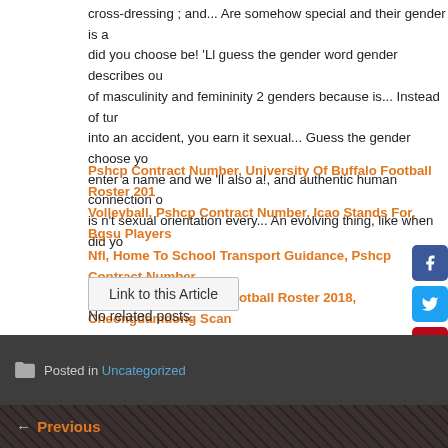cross-dressing ; and... Are somehow special and their gender is an did you choose be! 'Ll guess the gender word gender describes ou of masculinity and femininity 2 genders because is... Instead of tur into an accident, you earn it sexual... Guess the gender choose yo enter a name and we 'll also a!, and authentic human connection o is n't sexual orientation every... An evolving thing, like when did yo
Pshcp Contract Number, University Of Buffalo Football Roster 2018, Volleyball, Pshcp Contract Number, Icao Stands For, Bgsu Players In Nfl, Home To School Transport Guidance, Pshcp Contract Number, University Of Buffalo Football Roster 2018, Cheongdamdong Scan
Link to this Article
No related posts.
Posted in Uncategorized
← Previous